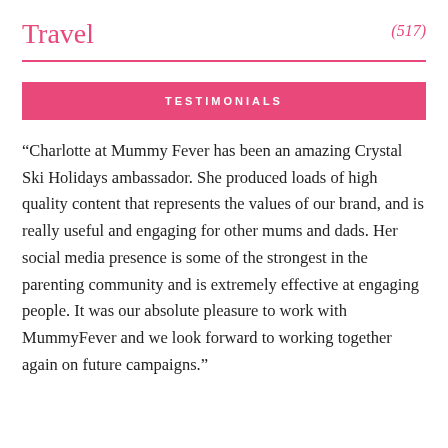Travel (517)
TESTIMONIALS
“Charlotte at Mummy Fever has been an amazing Crystal Ski Holidays ambassador. She produced loads of high quality content that represents the values of our brand, and is really useful and engaging for other mums and dads. Her social media presence is some of the strongest in the parenting community and is extremely effective at engaging people. It was our absolute pleasure to work with MummyFever and we look forward to working together again on future campaigns.”